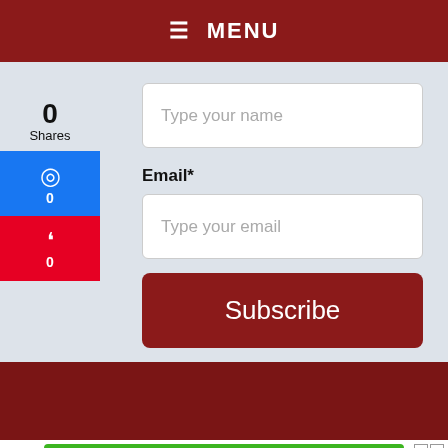≡ MENU
Type your name
Email*
Type your email
Subscribe
0 Shares
0
0
[Figure (screenshot): CONTACT US green button advertisement with ad icons]
Get recommendations on what will be best for your urgent care practice.
Ad